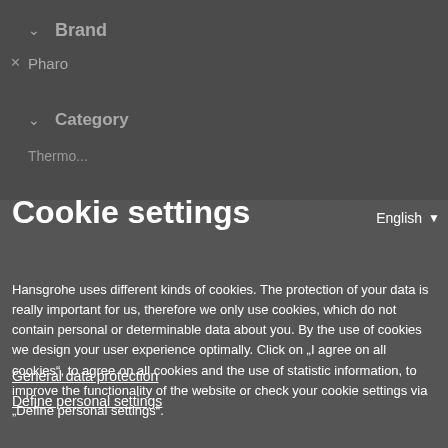Brand
Pharo
Category
Cookie settings
English
Hansgrohe uses different kinds of cookies. The protection of your data is really important for us, therefore we only use cookies, which do not contain personal or determinable data about you. By the use of cookies we design your user experience optimally. Click on „I agree on all cookies“, to agree on all cookies and the use of statistic information, to improve the functionality of the website or check your cookie settings via „Define personal settings“.
General data protection
Define personal settings
I agree to all cookies